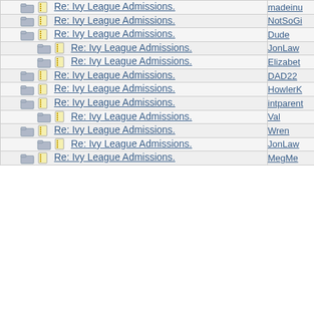| Subject | Author |
| --- | --- |
| Re: Ivy League Admissions. | madeinu |
| Re: Ivy League Admissions. | NotSoGi |
| Re: Ivy League Admissions. | Dude |
| Re: Ivy League Admissions. | JonLaw |
| Re: Ivy League Admissions. | Elizabeth |
| Re: Ivy League Admissions. | DAD22 |
| Re: Ivy League Admissions. | HowlerK |
| Re: Ivy League Admissions. | intparent |
| Re: Ivy League Admissions. | Val |
| Re: Ivy League Admissions. | Wren |
| Re: Ivy League Admissions. | JonLaw |
| Re: Ivy League Admissions. | MegMe |